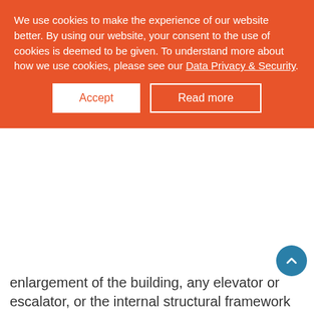We use cookies to make the experience of our website better. By using our website, your consent to the use of cookies is deemed to be given. To understand more about how we use cookies, please see our Data Privacy & Security.
enlargement of the building, any elevator or escalator, or the internal structural framework of the building. Thus, qualified improvement property placed in service after December 31, 2017 is generally depreciable over 15 years using the straight-line method (with the half-year convention), without regard to whether the improvements are property subject to a lease, placed in service more than three years after the date the building was first placed in service, or made to